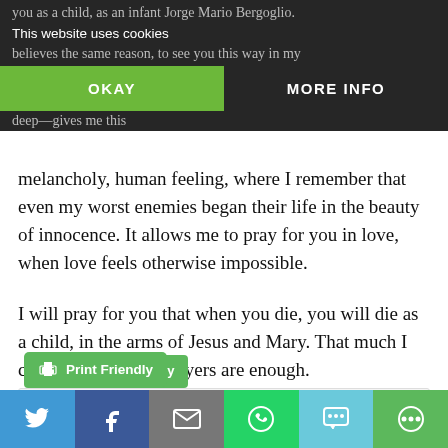[Figure (screenshot): Cookie consent banner overlay with dark semi-transparent background. Contains text 'This website uses cookies' and two buttons: 'OKAY' (green) and 'MORE INFO' (transparent/white text).]
you as a child, as an infant Jorge Mario Bergoglio. believes the same reason, to see you this way in my deep—gives me this melancholy, human feeling, where I remember that even my worst enemies began their life in the beauty of innocence. It allows me to pray for you in love, when love feels otherwise impossible.
I will pray for you that when you die, you will die as a child, in the arms of Jesus and Mary. That much I can do. I hope our prayers are enough.
[Figure (screenshot): Print Friendly button — green rounded rectangle with printer icon and text 'Print Friendly']
[Figure (screenshot): Author card area with partial circular avatar photo visible at bottom center]
[Figure (screenshot): Social sharing bar at bottom with six buttons: Twitter (blue), Facebook (dark blue), Email (gray), WhatsApp (green), SMS (light blue), More (green)]